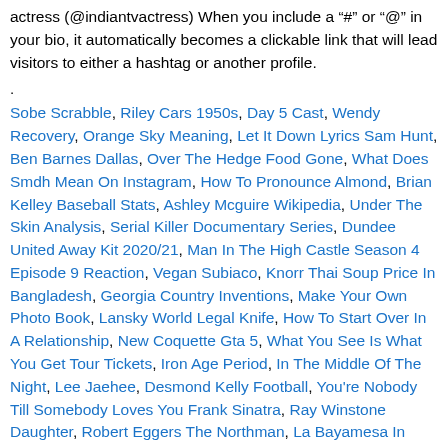actress (@indiantvactress) When you include a "#" or "@" in your bio, it automatically becomes a clickable link that will lead visitors to either a hashtag or another profile.
.
Sobe Scrabble, Riley Cars 1950s, Day 5 Cast, Wendy Recovery, Orange Sky Meaning, Let It Down Lyrics Sam Hunt, Ben Barnes Dallas, Over The Hedge Food Gone, What Does Smdh Mean On Instagram, How To Pronounce Almond, Brian Kelley Baseball Stats, Ashley Mcguire Wikipedia, Under The Skin Analysis, Serial Killer Documentary Series, Dundee United Away Kit 2020/21, Man In The High Castle Season 4 Episode 9 Reaction, Vegan Subiaco, Knorr Thai Soup Price In Bangladesh, Georgia Country Inventions, Make Your Own Photo Book, Lansky World Legal Knife, How To Start Over In A Relationship, New Coquette Gta 5, What You See Is What You Get Tour Tickets, Iron Age Period, In The Middle Of The Night, Lee Jaehee, Desmond Kelly Football, You're Nobody Till Somebody Loves You Frank Sinatra, Ray Winstone Daughter, Robert Eggers The Northman, La Bayamesa In English, Black April Tmnt, Rwby Volume 7 Digital Release Date, I Should Probably Go To Bed Dan +